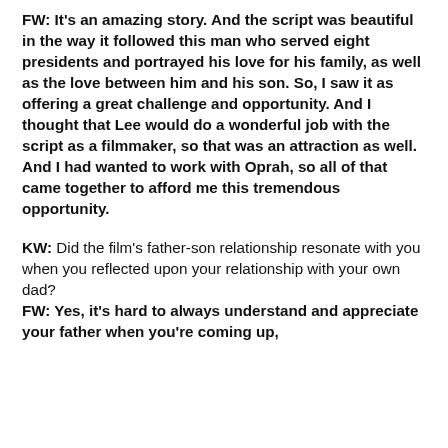FW: It's an amazing story. And the script was beautiful in the way it followed this man who served eight presidents and portrayed his love for his family, as well as the love between him and his son. So, I saw it as offering a great challenge and opportunity. And I thought that Lee would do a wonderful job with the script as a filmmaker, so that was an attraction as well. And I had wanted to work with Oprah, so all of that came together to afford me this tremendous opportunity.
KW: Did the film's father-son relationship resonate with you when you reflected upon your relationship with your own dad? FW: Yes, it's hard to always understand and appreciate your father when you're coming up,